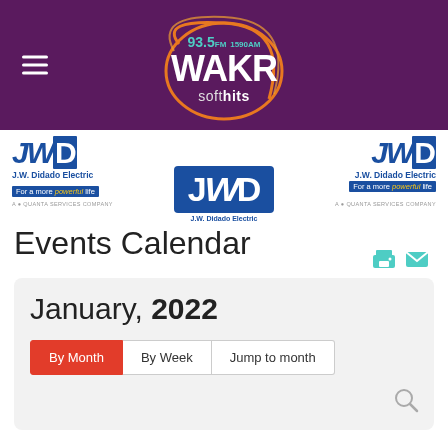93.5FM 1590AM WAKR soft hits
[Figure (logo): WAKR 93.5FM 1590AM soft hits radio station logo with orange circular design on purple background]
[Figure (logo): J.W. Didado Electric - For a more powerful life - A Quanta Services Company logo (left)]
[Figure (logo): J.W. Didado Electric - For a more powerful life - A Quanta Services Company logo (right)]
[Figure (logo): J.W. Didado Electric large blue logo in center overlay]
Events Calendar
January, 2022
By Month | By Week | Jump to month